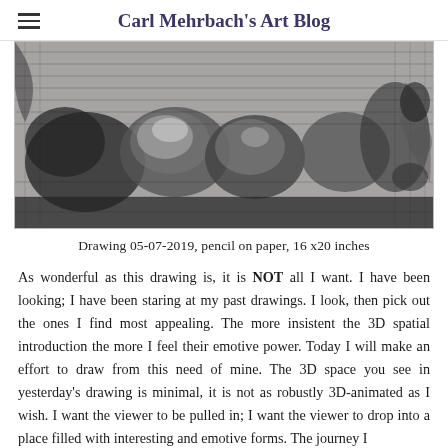Carl Mehrbach's Art Blog
[Figure (illustration): Black and white pencil drawing showing abstract 3D forms and figures, cropped view of artwork]
Drawing 05-07-2019, pencil on paper, 16 x20 inches
As wonderful as this drawing is, it is NOT all I want. I have been looking; I have been staring at my past drawings. I look, then pick out the ones I find most appealing. The more insistent the 3D spatial introduction the more I feel their emotive power. Today I will make an effort to draw from this need of mine. The 3D space you see in yesterday's drawing is minimal, it is not as robustly 3D-animated as I wish. I want the viewer to be pulled in; I want the viewer to drop into a place filled with interesting and emotive forms. The journey I